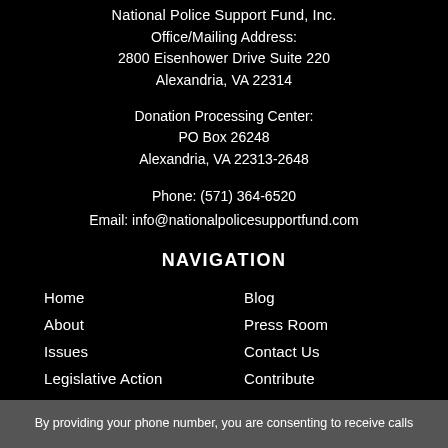National Police Support Fund, Inc.
Office/Mailing Address:
2800 Eisenhower Drive Suite 220
Alexandria, VA 22314
Donation Processing Center:
PO Box 26248
Alexandria, VA 22313-2648
Phone: (571) 364-6520
Email: info@nationalpolicesupportfund.com
NAVIGATION
Home
Blog
About
Press Room
Issues
Contact Us
Legislative Action
Contribute
By providing your phone number, you are consenting to receive calls